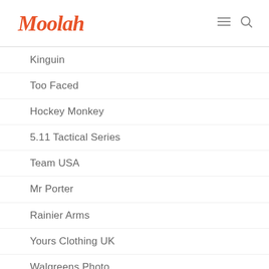Moolah
Kinguin
Too Faced
Hockey Monkey
5.11 Tactical Series
Team USA
Mr Porter
Rainier Arms
Yours Clothing UK
Walgreens Photo